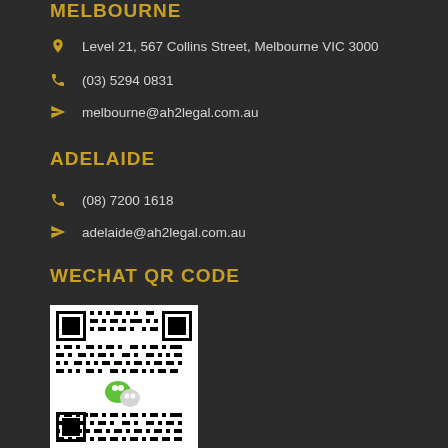MELBOURNE
Level 21, 567 Collins Street, Melbourne VIC 3000
(03) 5294 0831
melbourne@ah2legal.com.au
ADELAIDE
(08) 7200 1618
adelaide@ah2legal.com.au
WECHAT QR CODE
[Figure (other): WeChat QR code image with WeChat logo in the center]